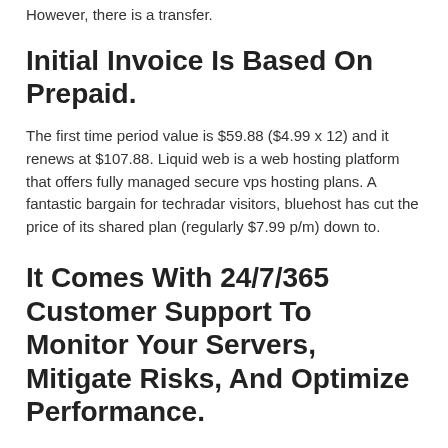However, there is a transfer.
Initial Invoice Is Based On Prepaid.
The first time period value is $59.88 ($4.99 x 12) and it renews at $107.88. Liquid web is a web hosting platform that offers fully managed secure vps hosting plans. A fantastic bargain for techradar visitors, bluehost has cut the price of its shared plan (regularly $7.99 p/m) down to.
It Comes With 24/7/365 Customer Support To Monitor Your Servers, Mitigate Risks, And Optimize Performance.
At the top of our list is inmotion. If your bandwidth usage seems too high for how much traffic your website is